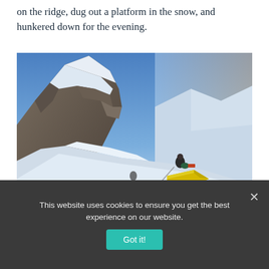on the ridge, dug out a platform in the snow, and hunkered down for the evening.
[Figure (photo): Mountain climbers camping on a snow ridge with rocky peaks and blue sky at sunset. A person sits near a yellow tent on the snowy ridge.]
This website uses cookies to ensure you get the best experience on our website.